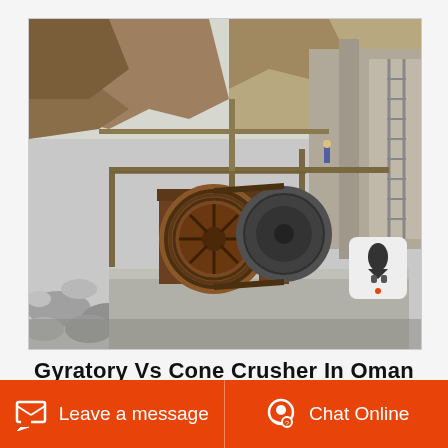[Figure (photo): Industrial jaw crusher or gyratory crusher installed at a quarry/mining site in Oman. Large mechanical crushing equipment with flywheel visible, mounted on concrete platform. Rocky hillside and scaffolding visible in background. A notification/rocket icon badge is overlaid in the bottom-right area of the photo.]
Gyratory Vs Cone Crusher In Oman
Leave a message
Chat Online